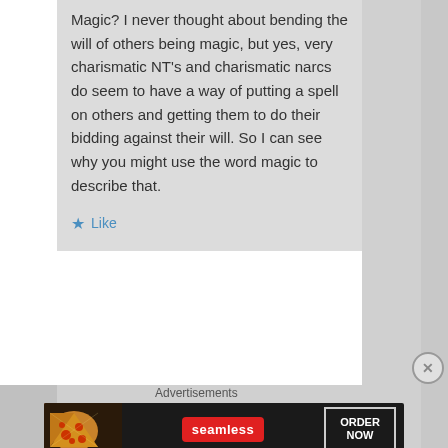Magic? I never thought about bending the will of others being magic, but yes, very charismatic NT's and charismatic narcs do seem to have a way of putting a spell on others and getting them to do their bidding against their will. So I can see why you might use the word magic to describe that.
Like
Advertisements
[Figure (screenshot): Seamless food delivery advertisement banner with pizza image on left, red Seamless logo in center, and ORDER NOW button on right against dark background]